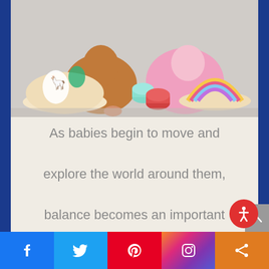[Figure (photo): Two children sitting on the floor playing with colorful wooden balance board toys - one with a llama/alpaca design and the other with a rainbow design. Some small cylindrical blocks are also visible.]
As babies begin to move and explore the world around them, balance becomes an important early skill for them to develop. Whether they're crawling, sitting,
Facebook | Twitter | Pinterest | Instagram | Share